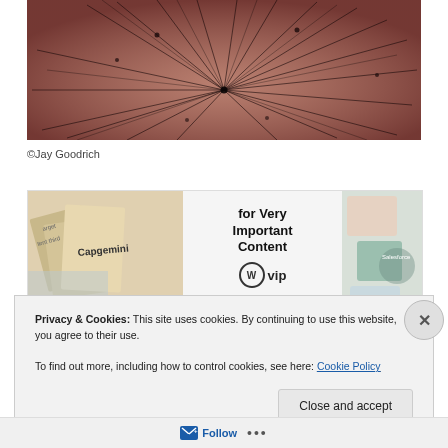[Figure (photo): Close-up macro photo of dandelion seed head, dark brown/copper tones, radiating filaments visible against warm background]
©Jay Goodrich
[Figure (screenshot): WordPress VIP advertisement banner: cards/stationery on left and right sides, center text reads 'for Very Important Content' with WordPress logo and 'vip', and a 'Learn more' button with arrow]
Privacy & Cookies: This site uses cookies. By continuing to use this website, you agree to their use.
To find out more, including how to control cookies, see here: Cookie Policy
Close and accept
Follow